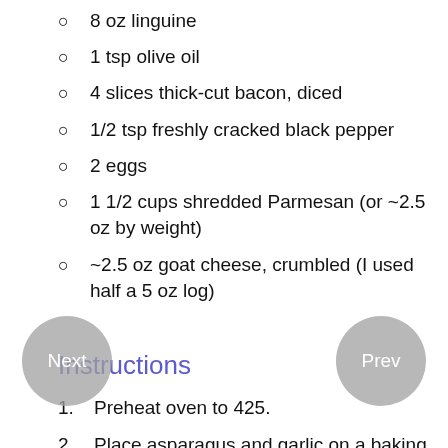8 oz linguine
1 tsp olive oil
4 slices thick-cut bacon, diced
1/2 tsp freshly cracked black pepper
2 eggs
1 1/2 cups shredded Parmesan (or ~2.5 oz by weight)
~2.5 oz goat cheese, crumbled (I used half a 5 oz log)
Instructions
1. Preheat oven to 425.
2. Place asparagus and garlic on a baking sheet, drizzle with olive oil, salt, and pepper.
3. Bake for 12-15 minutes and then cut the stalks in half or thirds.